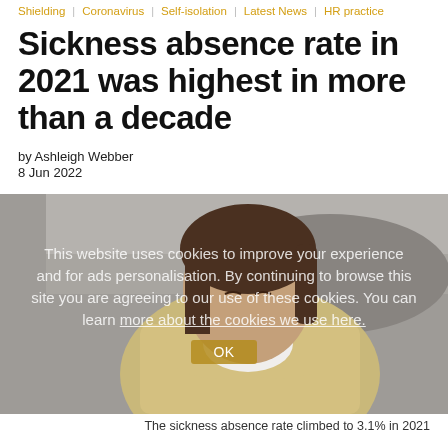Shielding | Coronavirus | Self-isolation | Latest News | HR practice
Sickness absence rate in 2021 was highest in more than a decade
by Ashleigh Webber
8 Jun 2022
[Figure (photo): Photo of a woman in a yellow robe blowing her nose into a tissue, with a cookie consent overlay notice visible on top of the image. Cookie notice reads: This website uses cookies to improve your experience and for ads personalisation. By continuing to browse this site you are agreeing to our use of these cookies. You can learn more about the cookies we use here. OK]
The sickness absence rate climbed to 3.1% in 2021